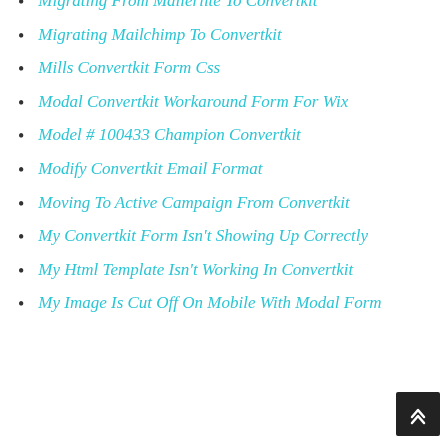Migrating From Mailerlite To Convertkit
Migrating Mailchimp To Convertkit
Mills Convertkit Form Css
Modal Convertkit Workaround Form For Wix
Model # 100433 Champion Convertkit
Modify Convertkit Email Format
Moving To Active Campaign From Convertkit
My Convertkit Form Isn't Showing Up Correctly
My Html Template Isn't Working In Convertkit
My Image Is Cut Off On Mobile With Modal Form